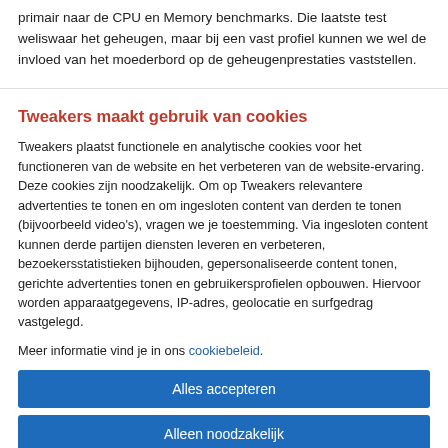primair naar de CPU en Memory benchmarks. Die laatste test weliswaar het geheugen, maar bij een vast profiel kunnen we wel de invloed van het moederbord op de geheugenprestaties vaststellen.
Tweakers maakt gebruik van cookies
Tweakers plaatst functionele en analytische cookies voor het functioneren van de website en het verbeteren van de website-ervaring. Deze cookies zijn noodzakelijk. Om op Tweakers relevantere advertenties te tonen en om ingesloten content van derden te tonen (bijvoorbeeld video's), vragen we je toestemming. Via ingesloten content kunnen derde partijen diensten leveren en verbeteren, bezoekersstatistieken bijhouden, gepersonaliseerde content tonen, gerichte advertenties tonen en gebruikersprofielen opbouwen. Hiervoor worden apparaatgegevens, IP-adres, geolocatie en surfgedrag vastgelegd.
Meer informatie vind je in ons cookiebeleid.
Alles accepteren
Alleen noodzakelijk
Voorkeuren aanpassen